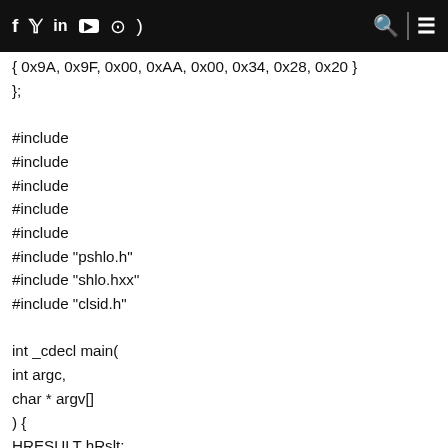f  y  in  ▶  ◎  ⊃  [search icon] | [menu icon]
{ 0x9A, 0x9F, 0x00, 0xAA, 0x00, 0x34, 0x28, 0x20 }
};

#include
#include
#include
#include
#include
#include "pshlo.h"
#include "shlo.hxx"
#include "clsid.h"

int _cdecl main(
int argc,
char * argv[]
) {
HRESULT hRslt;
#hRslt